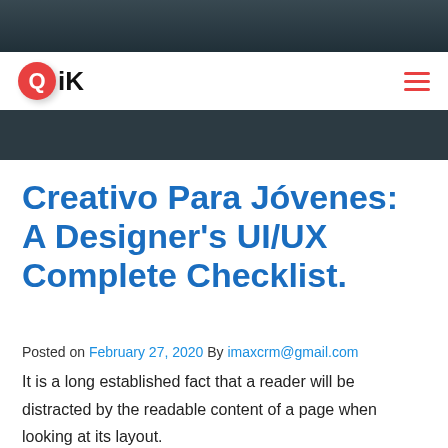[Figure (photo): Top banner image showing a dark interior scene, partially cropped]
QiK (logo with hamburger menu)
[Figure (photo): Dark band / continuation of header image area]
Creativo Para Jóvenes: A Designer’s UI/UX Complete Checklist.
Posted on February 27, 2020 By imaxcrm@gmail.com
It is a long established fact that a reader will be distracted by the readable content of a page when looking at its layout. The point of using Lorem Ipsum is that it has a more-or-less